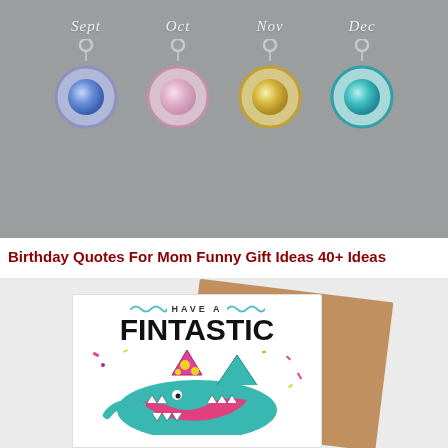[Figure (photo): Four birthstone charms on a gray background labeled Sept, Oct, Nov, Dec. Charms are round gemstone circles in blue, pink, gold, and teal colors with silver rings on top.]
Birthday Quotes For Mom Funny Gift Ideas 40+ Ideas
[Figure (photo): A funny birthday card showing a shark wearing a party hat with text 'HAVE A FINTASTIC' and colorful confetti, displayed against a kraft paper envelope background.]